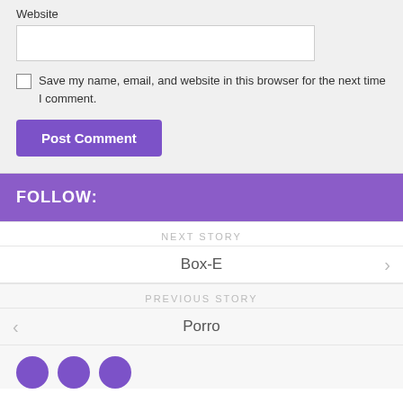Website
Save my name, email, and website in this browser for the next time I comment.
Post Comment
FOLLOW:
NEXT STORY
Box-E
PREVIOUS STORY
Porro